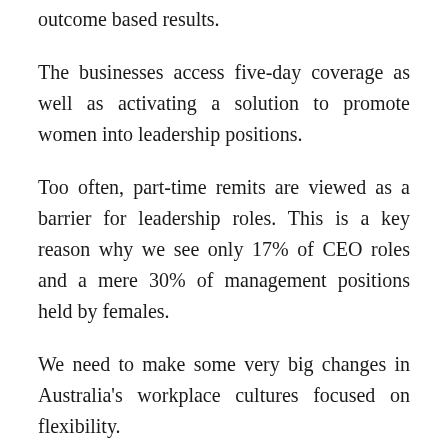outcome based results.
The businesses access five-day coverage as well as activating a solution to promote women into leadership positions.
Too often, part-time remits are viewed as a barrier for leadership roles. This is a key reason why we see only 17% of CEO roles and a mere 30% of management positions held by females.
We need to make some very big changes in Australia's workplace cultures focused on flexibility.
This is the single most powerful driver to change and to ensure we have more women returning to